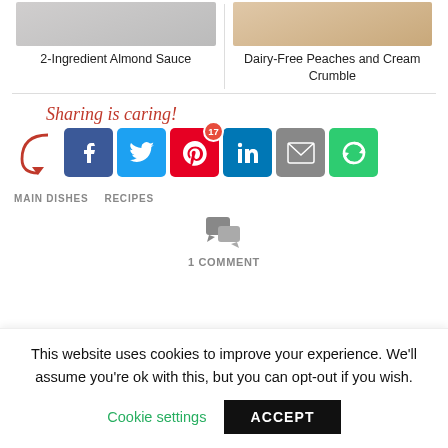[Figure (photo): Two recipe cards at top: '2-Ingredient Almond Sauce' on the left and 'Dairy-Free Peaches and Cream Crumble' on the right, each with a photo thumbnail]
2-Ingredient Almond Sauce
Dairy-Free Peaches and Cream Crumble
Sharing is caring!
[Figure (infographic): Social share buttons: Facebook, Twitter, Pinterest (17), LinkedIn, Email, and a green circular arrow button. A red arrow points to them.]
MAIN DISHES
RECIPES
[Figure (infographic): Comment speech bubble icon]
1 COMMENT
This website uses cookies to improve your experience. We'll assume you're ok with this, but you can opt-out if you wish.
Cookie settings
ACCEPT